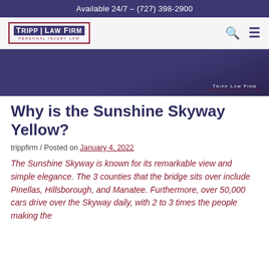Available 24/7 – (727) 398-2900
[Figure (logo): Tripp Law Firm – Personal Injury Law logo with red border and dark blue/purple color scheme]
Why is the Sunshine Skyway Yellow?
trippfirm / Posted on January 4, 2022
The Sunshine Skyway is known for its remarkable view and simple elegance. The 3 counties that the bridge sits over include Pinellas, Hillsborough, and Manatee. Furthermore, over 50,000 cars drive over the Skyway daily, with 2 to 3 times the people making the